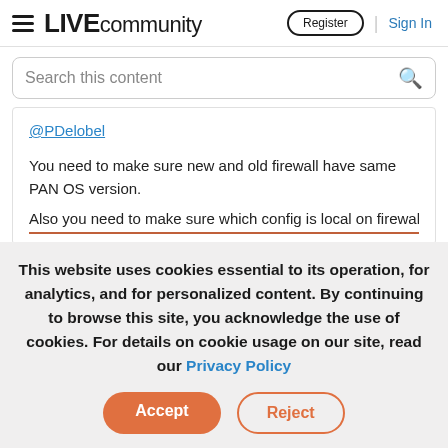LIVE community — Register | Sign In
Search this content
@PDelobel
You need to make sure new and old firewall have same PAN OS version.
Also you need to make sure which config is local on firewall
This website uses cookies essential to its operation, for analytics, and for personalized content. By continuing to browse this site, you acknowledge the use of cookies. For details on cookie usage on our site, read our Privacy Policy
Accept
Reject